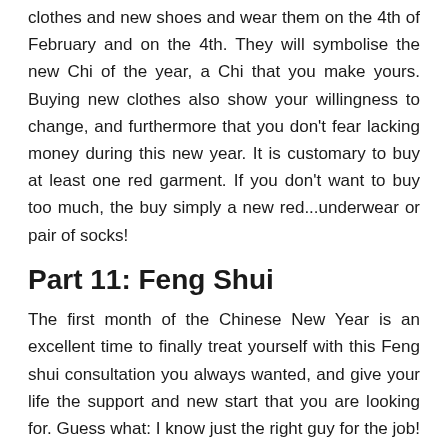clothes and new shoes and wear them on the 4th of February and on the 4th. They will symbolise the new Chi of the year, a Chi that you make yours. Buying new clothes also show your willingness to change, and furthermore that you don't fear lacking money during this new year. It is customary to buy at least one red garment. If you don't want to buy too much, the buy simply a new red...underwear or pair of socks!
Part 11: Feng Shui
The first month of the Chinese New Year is an excellent time to finally treat yourself with this Feng shui consultation you always wanted, and give your life the support and new start that you are looking for. Guess what: I know just the right guy for the job! Contact me now so we can schedule your change of life in 2020, year of the Rat . Working on the material and the Earth luck with Feng Shui is a great start: it is easier to